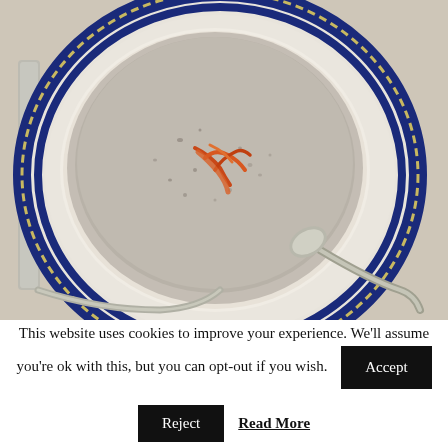[Figure (photo): Overhead view of a bowl of creamy mushroom soup on a decorative blue and white plate, with orange garnish on top of the soup and a silver spoon on the plate]
This website uses cookies to improve your experience. We'll assume you're ok with this, but you can opt-out if you wish.
Accept
Reject
Read More